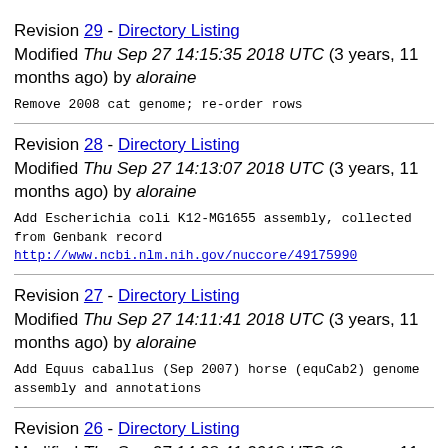Revision 29 - Directory Listing
Modified Thu Sep 27 14:15:35 2018 UTC (3 years, 11 months ago) by aloraine
Remove 2008 cat genome; re-order rows
Revision 28 - Directory Listing
Modified Thu Sep 27 14:13:07 2018 UTC (3 years, 11 months ago) by aloraine
Add Escherichia coli K12-MG1655 assembly, collected from Genbank record
http://www.ncbi.nlm.nih.gov/nuccore/49175990
Revision 27 - Directory Listing
Modified Thu Sep 27 14:11:41 2018 UTC (3 years, 11 months ago) by aloraine
Add Equus caballus (Sep 2007) horse (equCab2) genome assembly and annotations
Revision 26 - Directory Listing
Modified Thu Sep 27 14:08:41 2018 UTC (3 years, 11 months ago) by aloraine
Add Danio rerio (Jul 2010) zebrafish (danRer7/Zv9)...